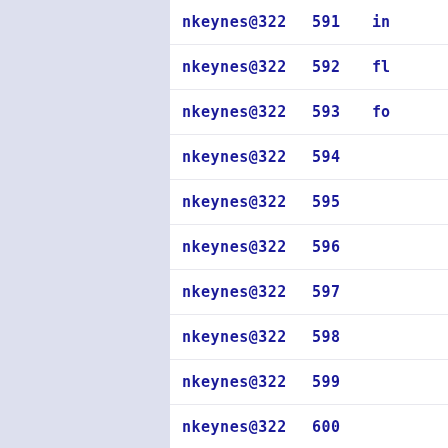| Author | Rev | Message |
| --- | --- | --- |
| nkeynes@322 | 591 | in |
| nkeynes@322 | 592 | fl |
| nkeynes@322 | 593 | fo |
| nkeynes@322 | 594 |  |
| nkeynes@322 | 595 |  |
| nkeynes@322 | 596 |  |
| nkeynes@322 | 597 |  |
| nkeynes@322 | 598 |  |
| nkeynes@322 | 599 |  |
| nkeynes@322 | 600 |  |